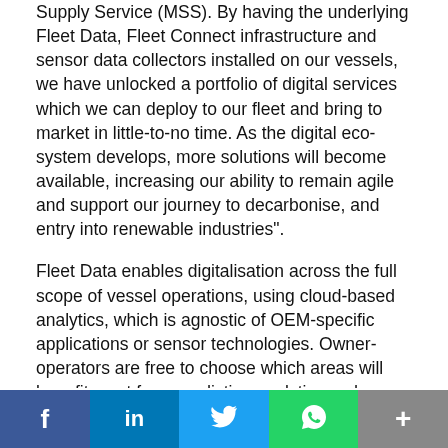Supply Service (MSS). By having the underlying Fleet Data, Fleet Connect infrastructure and sensor data collectors installed on our vessels, we have unlocked a portfolio of digital services which we can deploy to our fleet and bring to market in little-to-no time. As the digital eco-system develops, more solutions will become available, increasing our ability to remain agile and support our journey to decarbonise, and entry into renewable industries".
Fleet Data enables digitalisation across the full scope of vessel operations, using cloud-based analytics, which is agnostic of OEM-specific applications or sensor technologies. Owner-operators are free to choose which areas will benefit most from predictive analytics and decision-making.
The new agreement will accommodate rapid scaling up of new IoT-based vessel performance applications fleet wide.
[Figure (other): Social media share buttons: Facebook (blue), LinkedIn (blue), Twitter (light blue), WhatsApp (green), and one more button (grey), displayed as a horizontal bar at the bottom of the page.]